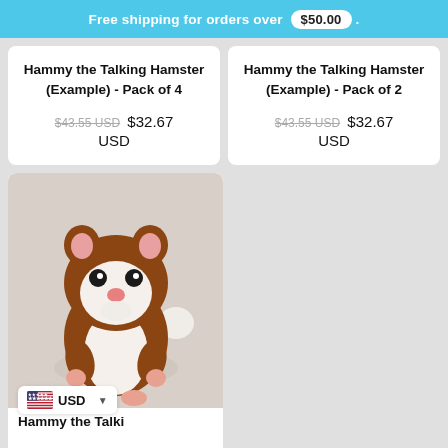Free shipping for orders over $50.00 .
Hammy the Talking Hamster (Example) - Pack of 4
$43.55 USD  $32.67 USD
Hammy the Talking Hamster (Example) - Pack of 2
$43.55 USD  $32.67 USD
[Figure (photo): A brown and white plush toy hamster standing upright, with pink ears and nose, on a light background. A USD currency selector badge is visible in the lower left corner.]
Hammy the Talki...